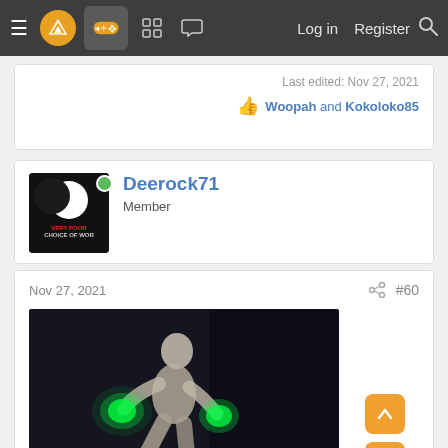≡  [logo]  [gamepad]  [grid]  [chat]    Log in   Register  🔍
Last edited: Nov 27, 2021
👍 Woopah and Kokoloko85
Deerock71
Member
Nov 27, 2021
#60
[Figure (photo): Animated GIF of a person appearing to kick something with green glowing light effects on their hands and feet, with a food item on the floor]